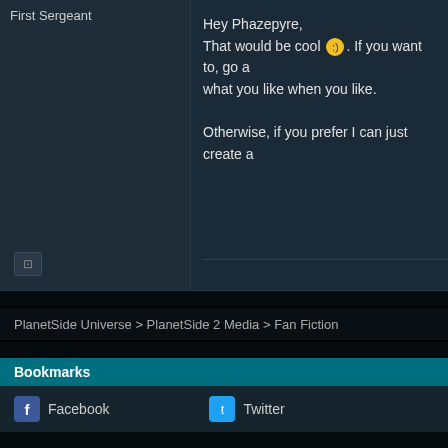First Sergeant
Hey Phazepyre,
That would be cool 🙂. If you want to, go a what you like when you like.

Otherwise, if you prefer I can just create a
PlanetSide Universe > PlanetSide 2 Media > Fan Fiction
Bookmarks
Facebook
Twitter
Tags
bridgeward, octagon, svc, tactics, vanu
VIP Posts
Read More >
Wiki Activity
All Good Things
Much love! Thanks for EVERYTHING you've done for the PlanetSide and PlanetSide 2…
Luperza 2015-12-09 02:44 AM
List of Alliances
Loro